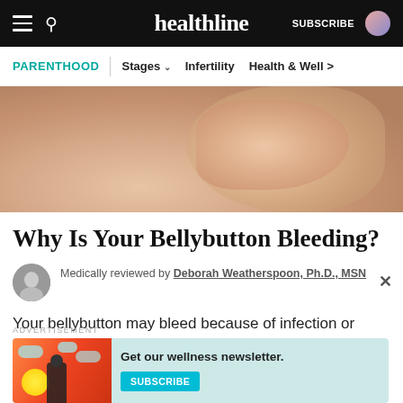healthline | SUBSCRIBE
PARENTHOOD | Stages | Infertility | Health & Well
[Figure (photo): Close-up photo of a pregnant woman's belly with a hand resting on it]
Why Is Your Bellybutton Bleeding?
Medically reviewed by Deborah Weatherspoon, Ph.D., MSN
Your bellybutton may bleed because of infection or other conditions. Learn more about the symptoms,...
ADVERTISEMENT
[Figure (infographic): Advertisement banner: Get our wellness newsletter. Subscribe button. Illustration with a person and clouds on orange/red background with teal background.]